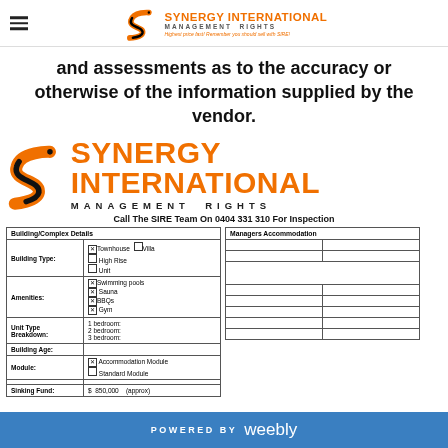Synergy International Management Rights
and assessments as to the accuracy or otherwise of the information supplied by the vendor.
[Figure (logo): Synergy International Management Rights logo with large orange S and orange brand text]
Call The SIRE Team On 0404 331 310 For Inspection
| Building/Complex Details |  |
| --- | --- |
| Building Type: | ☒Townhouse  ☐Villa
☐High Rise
☐Unit |
| Amenities: | ☒Swimming pools
☒ Sauna
☒BBQs
☒ Gym |
| Unit Type Breakdown: | 1 bedroom:
2 bedroom:
3 bedroom: |
| Building Age: |  |
| Module: | ☒ Accommodation Module
☐ Standard Module |
|  |  |
| Sinking Fund: | $ 850,000     (approx) |
| Managers Accommodation |  |
| --- | --- |
|  |  |
|  |  |
|  |  |
|  |  |
|  |  |
|  |  |
|  |  |
|  |  |
POWERED BY weebly